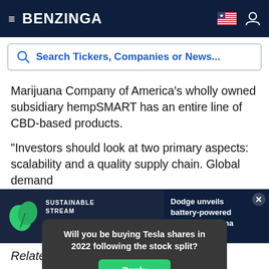BENZINGA
Search Tickers, Companies or News...
Marijuana Company of America's wholly owned subsidiary hempSMART has an entire line of CBD-based products.
“Investors should look at two primary aspects: scalability and a quality supply chain. Global demand
[Figure (screenshot): Dark video widget showing Sustainable Stream logo with play button overlay]
[Figure (screenshot): Dark news widget showing headline: Dodge unveils battery-powered Charger Daytona with close button and chevron]
[Figure (infographic): Dark poll popup asking 'Will you be buying Tesla shares in 2022 following the stock split?' with green Reply button]
Related